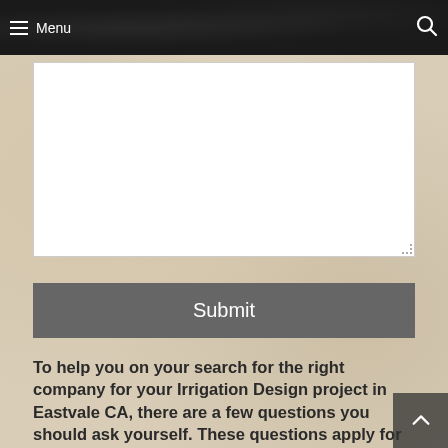Menu
[Figure (screenshot): White textarea input box for user text entry]
[Figure (screenshot): Submit button in dark gray with white text]
To help you on your search for the right company for your Irrigation Design project in Eastvale CA, there are a few questions you should ask yourself. These questions apply for